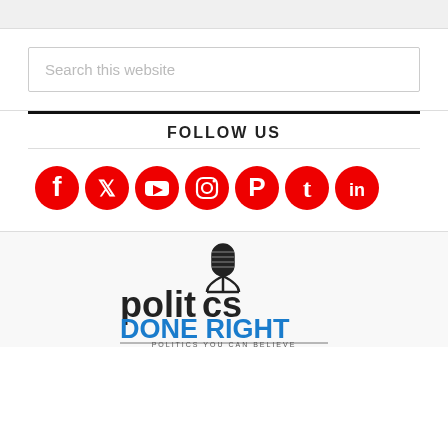[Figure (screenshot): Search box with placeholder text 'Search this website']
FOLLOW US
[Figure (infographic): Social media icons row: Facebook, Twitter, YouTube, Instagram, Pinterest, Tumblr, LinkedIn — all in red]
[Figure (logo): Politics Done Right logo with microphone graphic and tagline 'POLITICS YOU CAN BELIEVE']